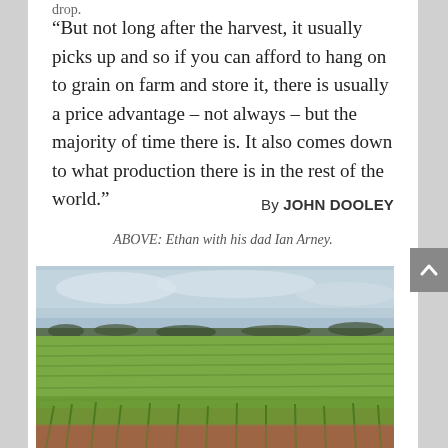drop.
“But not long after the harvest, it usually picks up and so if you can afford to hang on to grain on farm and store it, there is usually a price advantage – not always – but the majority of time there is. It also comes down to what production there is in the rest of the world.”
By JOHN DOOLEY
ABOVE: Ethan with his dad Ian Arney.
[Figure (photo): A wide green grain/wheat crop field under a cloudy blue-grey sky, stretching to a horizon with trees in the distance. Foreground shows red-brown soil with rows of young green plants.]